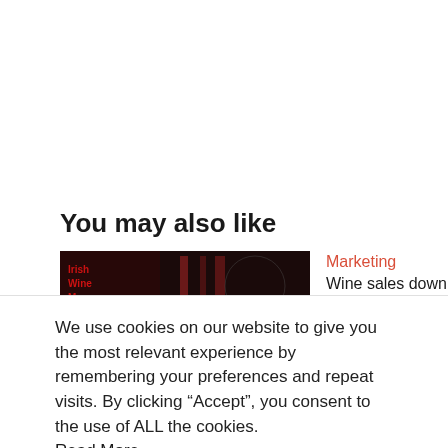You may also like
[Figure (photo): Thumbnail image of Irish Wine Market with wine glasses]
Marketing
Wine sales down 13% last
We use cookies on our website to give you the most relevant experience by remembering your preferences and repeat visits. By clicking “Accept”, you consent to the use of ALL the cookies.
Read More
Cookie settings
ACCEPT